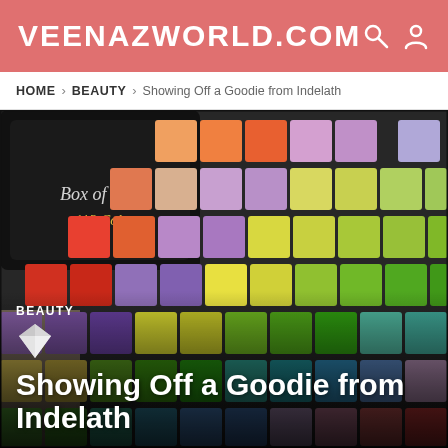VEENAZWORLD.COM
HOME > BEAUTY > Showing Off a Goodie from Indelath
[Figure (photo): Close-up photograph of a colorful 112-color eyeshadow palette labeled 'Box of Eye Colors 112 Colors', showing rows of vibrant rainbow-colored square eyeshadow pans including reds, oranges, pinks, purples, yellows, greens, blues and more.]
BEAUTY
Showing Off a Goodie from Indelath